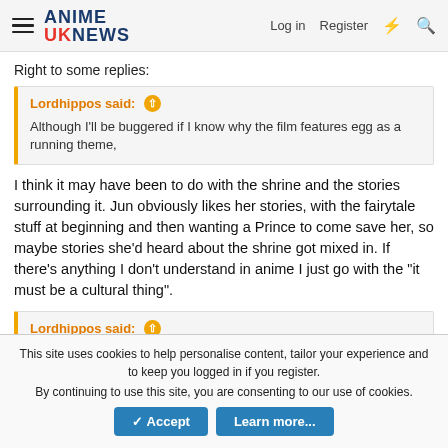ANIME UK NEWS — Log in  Register
Right to some replies:
Lordhippos said: Although I'll be buggered if I know why the film features egg as a running theme,
I think it may have been to do with the shrine and the stories surrounding it. Jun obviously likes her stories, with the fairytale stuff at beginning and then wanting a Prince to come save her, so maybe stories she'd heard about the shrine got mixed in. If there's anything I don't understand in anime I just go with the "it must be a cultural thing".
Lordhippos said:
This site uses cookies to help personalise content, tailor your experience and to keep you logged in if you register.
By continuing to use this site, you are consenting to our use of cookies.